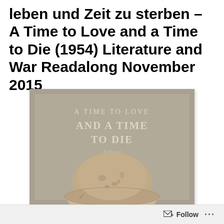leben und Zeit zu sterben – A Time to Love and a Time to Die (1954) Literature and War Readalong November 2015
[Figure (photo): Book cover of 'A Time to Love and a Time to Die – A Novel' showing the title text in large serif letters on a tan/grey background, with a weathered German military helmet visible at the bottom of the cover.]
Follow ···